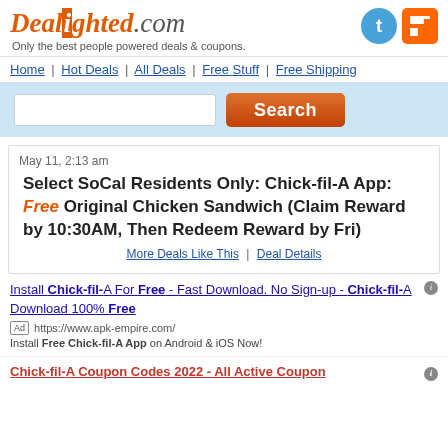Dealighted.com — Only the best people powered deals & coupons.
Home | Hot Deals | All Deals | Free Stuff | Free Shipping
Search
May 11, 2:13 am
Select SoCal Residents Only: Chick-fil-A App: Free Original Chicken Sandwich (Claim Reward by 10:30AM, Then Redeem Reward by Fri)
More Deals Like This | Deal Details
Install Chick-fil-A For Free - Fast Download. No Sign-up - Chick-fil-A Download 100% Free
Ad https://www.apk-empire.com/
Install Free Chick-fil-A App on Android & iOS Now!
Chick-fil-A Coupon Codes 2022 - All Active Coupon